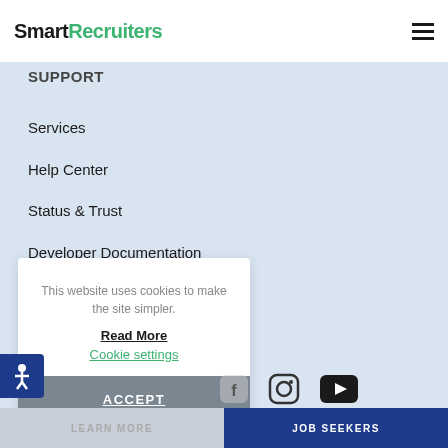SmartRecruiters
SUPPORT
Services
Help Center
Status & Trust
Developer Documentation
Log In
This website uses cookies to make the site simpler.
Read More
Cookie settings
ACCEPT
[Figure (screenshot): Social media icons: Facebook, Instagram, YouTube]
LEARN MORE
JOB SEEKERS